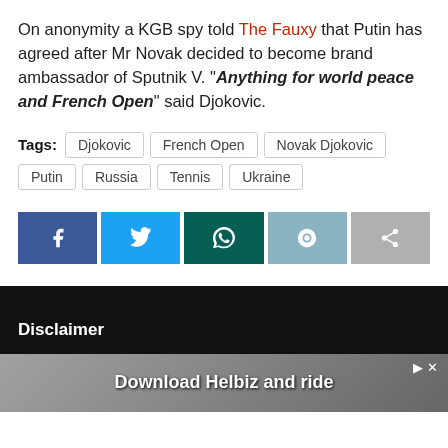On anonymity a KGB spy told The Fauxy that Putin has agreed after Mr Novak decided to become brand ambassador of Sputnik V. “Anything for world peace and French Open” said Djokovic.
Tags: Djokovic  French Open  Novak Djokovic  Putin  Russia  Tennis  Ukraine
[Figure (other): Social share buttons: Facebook, Twitter, WhatsApp, Reddit, Share]
Disclaimer
[Figure (other): Advertisement banner: Download Helbiz and ride]